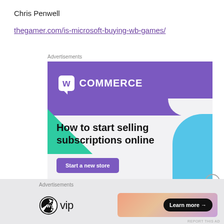Chris Penwell
thegamer.com/is-microsoft-buying-wb-games/
Advertisements
[Figure (screenshot): WooCommerce advertisement banner: 'How to start selling subscriptions online' with a 'Start a new store' button. Purple header with WooCommerce logo, green and blue decorative shapes.]
REPORT THIS AD
[Figure (logo): WordPress VIP logo with Learn more button on gradient background]
Advertisements
REPORT THIS AD